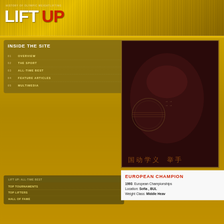HISTORY OF OLYMPIC WEIGHTLIFTING
LIFT UP
INSIDE THE SITE
01   OVERVIEW
02   THE SPORT
03   ALL-TIME BEST
04   FEATURE ARTICLES
05   MULTIMEDIA
[Figure (photo): Vintage weightlifting themed image with postage stamps overlay, dark red/brown tones with Chinese characters at bottom]
LIFT UP: ALL-TIME BEST
TOP TOURNAMENTS
TOP LIFTERS
HALL OF FAME
EUROPEAN CHAMPION
1993  European Championships
Location: Sofia ,  BUL
Weight Class: Middle Heavy